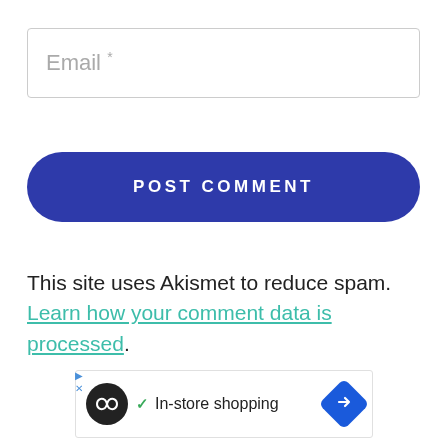Email *
POST COMMENT
This site uses Akismet to reduce spam. Learn how your comment data is processed.
[Figure (other): Advertisement banner with a circular black logo with infinity-like symbol, a checkmark, text 'In-store shopping', and a blue diamond arrow icon on the right.]